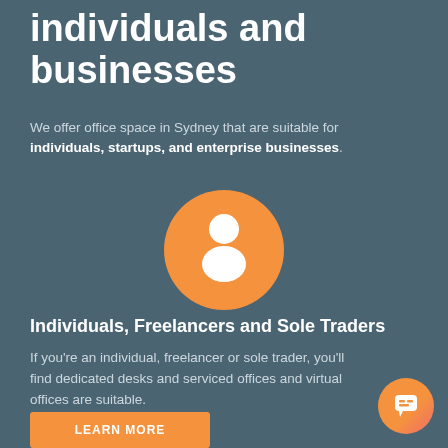individuals and businesses
We offer office space in Sydney that are suitable for individuals, startups, and enterprise businesses.
[Figure (illustration): Orange circle with white person/user silhouette icon centered on the page]
Individuals, Freelancers and Sole Traders
If you're an individual, freelancer or sole trader, you'll find dedicated desks and serviced offices and virtual offices are suitable.
LEARN MORE